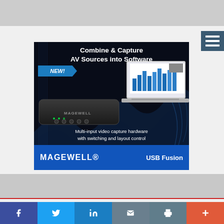[Figure (advertisement): Gray banner placeholder at top of page]
[Figure (advertisement): Magewell USB Fusion advertisement. Dark background with blue swirl design. Text: 'Combine & Capture AV Sources into Software', 'NEW!' badge, image of hardware device and laptop with bar chart software. Bottom text: 'Multi-input video capture hardware with switching and layout control'. Blue footer with MAGEWELL logo and 'USB Fusion' text.]
[Figure (screenshot): Navigation hamburger menu button (three white lines on dark teal/navy background)]
[Figure (infographic): Social sharing bar at bottom with Facebook (f), Twitter (bird), LinkedIn (in), Email (envelope), Print (printer), and More (+) buttons in various colors]